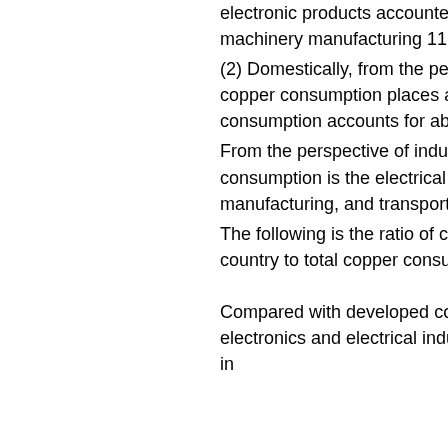electronic products accounted for 26.6%, transportation equipment 12.4%, and machinery manufacturing 11.2%. , Other 9.0%.
(2) Domestically, from the perspective of regional distribution, my country's main copper consumption places are in East China and South China, and their consumption accounts for about 70% of the total national consumption.
From the perspective of industry distribution, the industry with the largest copper consumption is the electrical and electronic industry. Construction, machinery manufacturing, and transportation also consume a large amount of copper.
The following is the ratio of copper consumption in various industries in my country to total copper consumption:
Compared with developed countries, the proportion of copper consumed by the electronics and electrical industries and machinery manufacturing in my country in